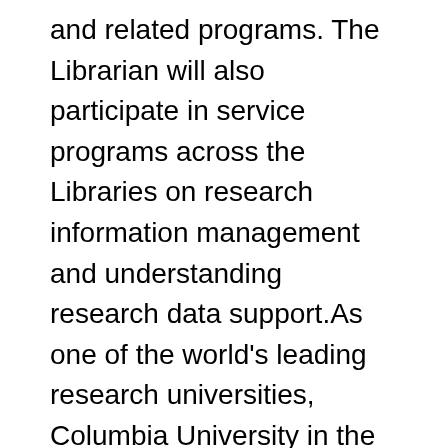and related programs. The Librarian will also participate in service programs across the Libraries on research information management and understanding research data support.As one of the world's leading research universities, Columbia University in the City of New York provides outstanding opportunities to work and grow in a dynamic, multicultural, intellectual community. The Columbia University Libraries are comprised of a diverse and engaged staff committed to furthering the University's teaching and research mission through innovation, collaboration, and a commitment to excellence.Columbia University is an Equal Opportunity/Affirmative Action Employer and